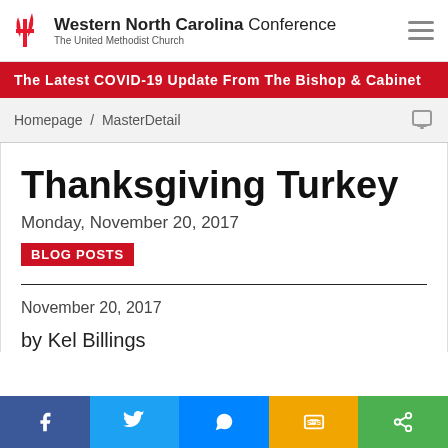Western North Carolina Conference — The United Methodist Church
The Latest COVID-19 Update From The Bishop & Cabinet
Homepage / MasterDetail
Thanksgiving Turkey
Monday, November 20, 2017
BLOG POSTS
November 20, 2017
by Kel Billings